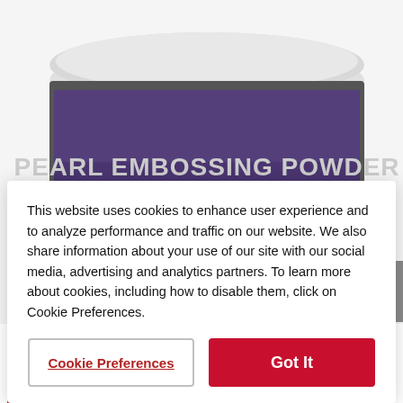[Figure (photo): A jar of Recollections Pearl Embossing Powder / Poudre de Gaufrage Perlée with a purple/dark label and white lid, photographed from above at an angle.]
This website uses cookies to enhance user experience and to analyze performance and traffic on our website. We also share information about your use of our site with our social media, advertising and analytics partners. To learn more about cookies, including how to disable them, click on Cookie Preferences.
Cookie Preferences
Got It